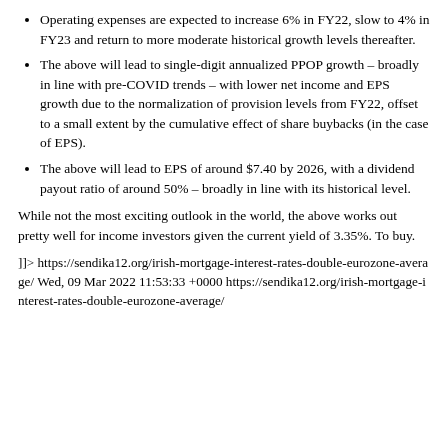Operating expenses are expected to increase 6% in FY22, slow to 4% in FY23 and return to more moderate historical growth levels thereafter.
The above will lead to single-digit annualized PPOP growth – broadly in line with pre-COVID trends – with lower net income and EPS growth due to the normalization of provision levels from FY22, offset to a small extent by the cumulative effect of share buybacks (in the case of EPS).
The above will lead to EPS of around $7.40 by 2026, with a dividend payout ratio of around 50% – broadly in line with its historical level.
While not the most exciting outlook in the world, the above works out pretty well for income investors given the current yield of 3.35%. To buy.
]]> https://sendika12.org/irish-mortgage-interest-rates-double-eurozone-average/ Wed, 09 Mar 2022 11:53:33 +0000 https://sendika12.org/irish-mortgage-interest-rates-double-eurozone-average/